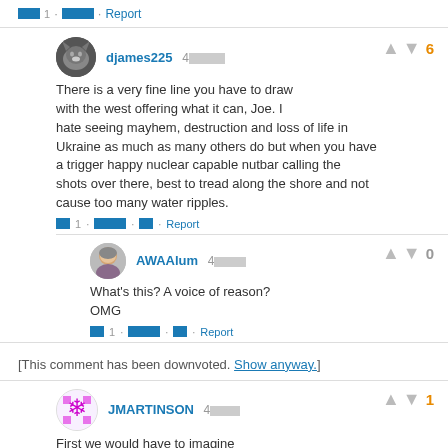[redacted] 1 · [redacted] · Report
djames225 4[redacted] — There is a very fine line you have to draw with the west offering what it can, Joe. I hate seeing mayhem, destruction and loss of life in Ukraine as much as many others do but when you have a trigger happy nuclear capable nutbar calling the shots over there, best to tread along the shore and not cause too many water ripples. — [redacted] 1 · [redacted] · [redacted] · Report — Vote: 6
AWAAlum 4[redacted] — What's this? A voice of reason? OMG — [redacted] 1 · [redacted] · [redacted] · Report — Vote: 0
[This comment has been downvoted. Show anyway.]
JMARTINSON 4[redacted] — First we would have to imagine what one has to do with the other, I assume? — [redacted] 1 · [redacted] · [redacted] · Report — Vote: 1